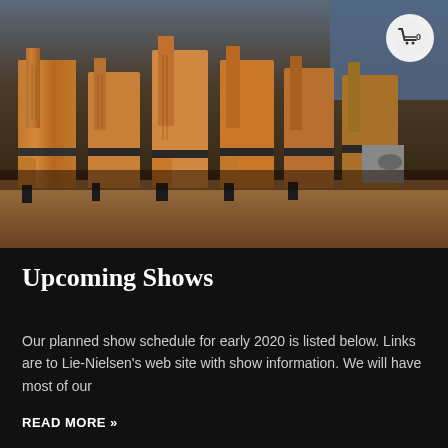[Figure (photo): Row of wooden hand planes (woodworking tools) lined up on a wooden surface, shot in warm tones. A shopping cart icon with '0' appears in the upper right corner.]
Upcoming Shows
Our planned show schedule for early 2020 is listed below. Links are to Lie-Nielsen's web site with show information. We will have most of our
READ MORE »